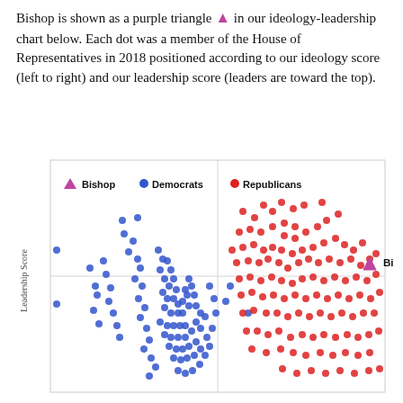Bishop is shown as a purple triangle ▲ in our ideology-leadership chart below. Each dot was a member of the House of Representatives in 2018 positioned according to our ideology score (left to right) and our leadership score (leaders are toward the top).
[Figure (continuous-plot): Scatter plot showing House of Representatives members in 2018 by ideology score (x-axis, left to right) and leadership score (y-axis, leaders at top). Blue dots represent Democrats clustered on the left half; red dots represent Republicans clustered on the right half. A pink/magenta triangle marks Bishop on the far right side at mid-high leadership. Legend shows: pink triangle = Bishop, blue dot = Democrats, red dot = Republicans. 'Bishop' label appears to the right of the triangle marker.]